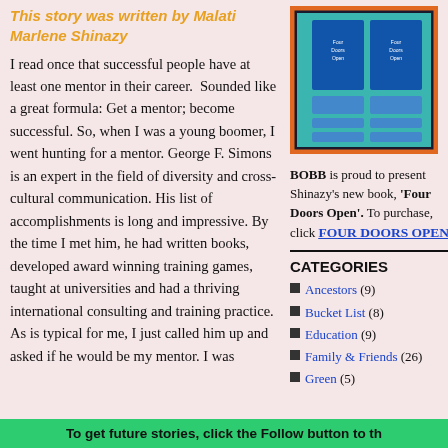This story was written by Malati Marlene Shinazy
I read once that successful people have at least one mentor in their career. Sounded like a great formula: Get a mentor; become successful. So, when I was a young boomer, I went hunting for a mentor. George F. Simons is an expert in the field of diversity and cross-cultural communication. His list of accomplishments is long and impressive. By the time I met him, he had written books, developed award winning training games, taught at universities and had a thriving international consulting and training practice. As is typical for me, I just called him up and asked if he would be my mentor. I was
[Figure (photo): Book cover of 'Four Doors Open' by Shinazy, displayed in orange-bordered packaging]
BOBB is proud to present Shinazy's new book, 'Four Doors Open'. To purchase, click FOUR DOORS OPEN
CATEGORIES
Ancestors (9)
Bucket List (8)
Education (9)
Family & Friends (26)
Green (5)
To get future stories, click the Follow button to th